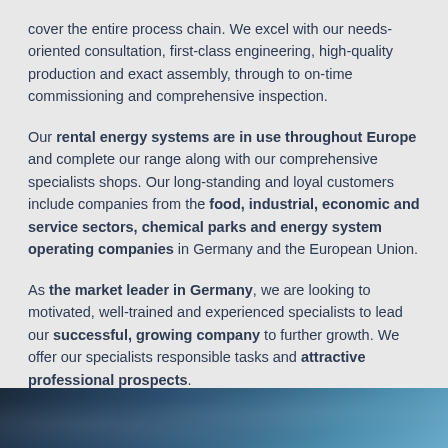cover the entire process chain. We excel with our needs-oriented consultation, first-class engineering, high-quality production and exact assembly, through to on-time commissioning and comprehensive inspection.
Our rental energy systems are in use throughout Europe and complete our range along with our comprehensive specialists shops. Our long-standing and loyal customers include companies from the food, industrial, economic and service sectors, chemical parks and energy system operating companies in Germany and the European Union.
As the market leader in Germany, we are looking to motivated, well-trained and experienced specialists to lead our successful, growing company to further growth. We offer our specialists responsible tasks and attractive professional prospects.
[Figure (photo): Partial photo strip at bottom of page showing abstract blue/teal industrial or engineering imagery]